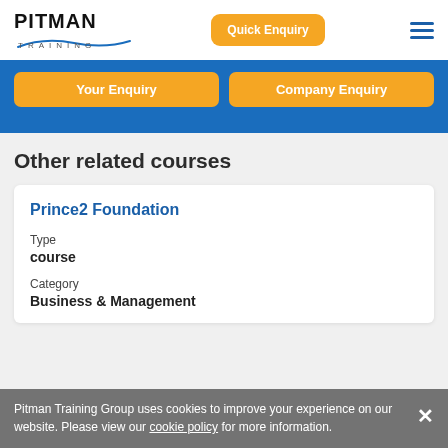PITMAN TRAINING | Quick Enquiry
[Figure (logo): Pitman Training logo with blue underline swoosh]
Your Enquiry | Company Enquiry
Other related courses
Prince2 Foundation
Type
course
Category
Business & Management
Pitman Training Group uses cookies to improve your experience on our website. Please view our cookie policy for more information.